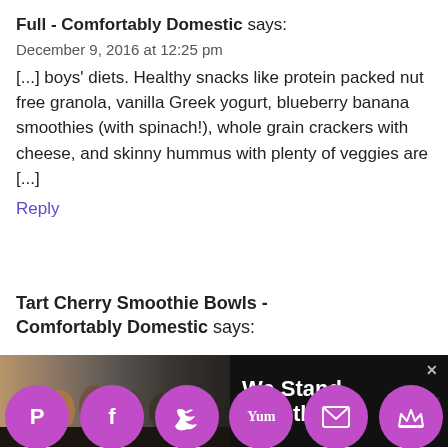Full - Comfortably Domestic says:
December 9, 2016 at 12:25 pm
[...] boys' diets. Healthy snacks like protein packed nut free granola, vanilla Greek yogurt, blueberry banana smoothies (with spinach!), whole grain crackers with cheese, and skinny hummus with plenty of veggies are [...]
Reply
Tart Cherry Smoothie Bowls - Comfortably Domestic says:
[Figure (infographic): Advertisement banner: group of people hugging with 'We Stand Together' text, and an X close button. Dark background with logo.]
equivalent of a spinach salad grind it in a Blueberry Banana Blast Smoothie. I've
[Figure (infographic): Social sharing toolbar with purple circular icons: Pinterest (P), Facebook (f), Twitter bird, Yum, Email, Crown logo]